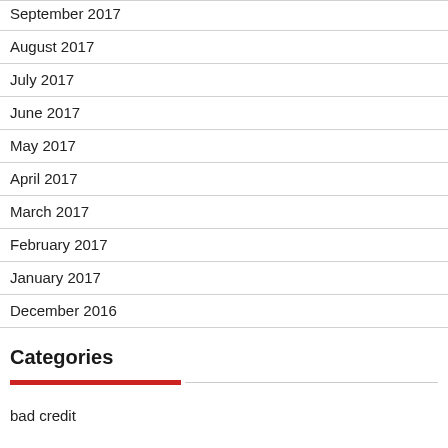September 2017
August 2017
July 2017
June 2017
May 2017
April 2017
March 2017
February 2017
January 2017
December 2016
Categories
bad credit